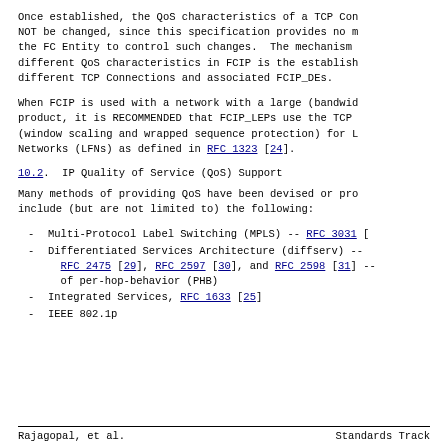Once established, the QoS characteristics of a TCP Con NOT be changed, since this specification provides no m the FC Entity to control such changes.  The mechanism different QoS characteristics in FCIP is the establish different TCP Connections and associated FCIP_DEs.
When FCIP is used with a network with a large (bandwid product, it is RECOMMENDED that FCIP_LEPs use the TCP (window scaling and wrapped sequence protection) for L Networks (LFNs) as defined in RFC 1323 [24].
10.2.  IP Quality of Service (QoS) Support
Many methods of providing QoS have been devised or pr include (but are not limited to) the following:
Multi-Protocol Label Switching (MPLS) -- RFC 3031 [
Differentiated Services Architecture (diffserv) -- RFC 2475 [29], RFC 2597 [30], and RFC 2598 [31] -- of per-hop-behavior (PHB)
Integrated Services, RFC 1633 [25]
IEEE 802.1p
Rajagopal, et al.            Standards Track